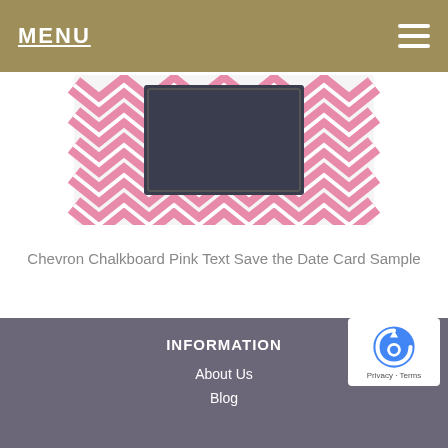MENU
[Figure (photo): Chevron chalkboard pink save the date card with pink and white zigzag chevron pattern and dark navy chalkboard design]
Chevron Chalkboard Pink Text Save the Date Card Sample
Add to cart
INFORMATION
About Us
Blog